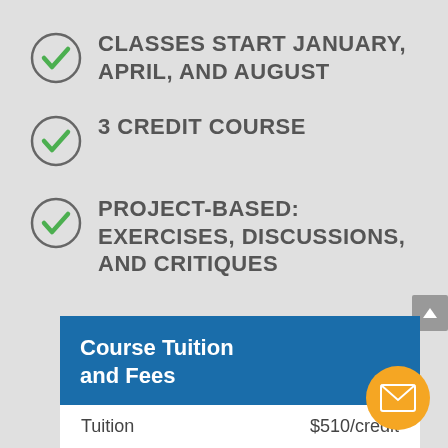CLASSES START JANUARY, APRIL, AND AUGUST
3 CREDIT COURSE
PROJECT-BASED: EXERCISES, DISCUSSIONS, AND CRITIQUES
Course Tuition and Fees
|  |  |
| --- | --- |
| Tuition | $510/credit |